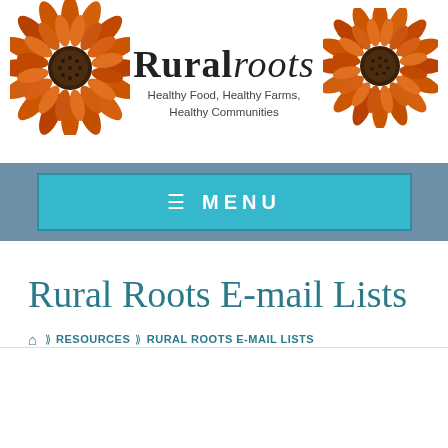[Figure (logo): Rural Roots logo with two sunflowers on either side and brand name 'Ruralroots' with tagline 'Healthy Food, Healthy Farms, Healthy Communities']
≡  MENU
Rural Roots E-mail Lists
🏠 › RESOURCES › RURAL ROOTS E-MAIL LISTS